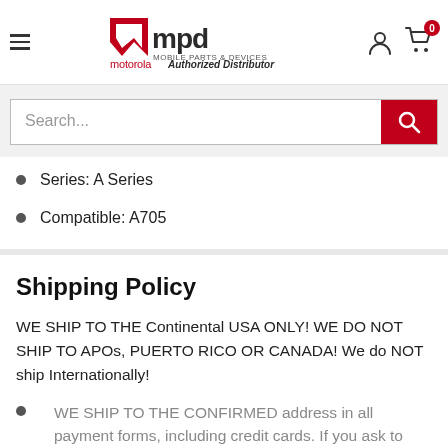[Figure (logo): MPD Mobile Parts & Devices logo with motorola Authorized Distributor text]
Search...
Series: A Series
Compatible: A705
Shipping Policy
WE SHIP TO THE Continental USA ONLY! WE DO NOT SHIP TO APOs, PUERTO RICO OR CANADA! We do NOT ship Internationally!
WE SHIP TO THE CONFIRMED address in all payment forms, including credit cards. If you ask to have the